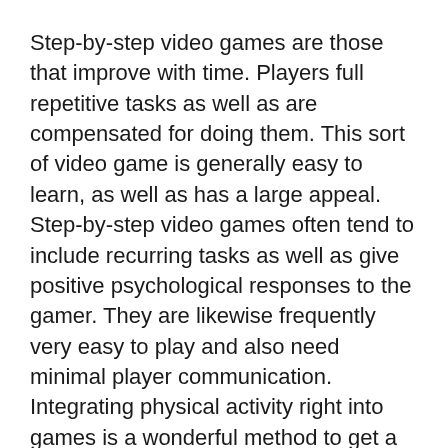Step-by-step video games are those that improve with time. Players full repetitive tasks as well as are compensated for doing them. This sort of video game is generally easy to learn, as well as has a large appeal. Step-by-step video games often tend to include recurring tasks as well as give positive psychological responses to the gamer. They are likewise frequently very easy to play and also need minimal player communication. Integrating physical activity right into games is a wonderful method to get a huge target market interested. Furthermore, these video games can be easy to find out and also can involve a variety of gamers.
Some styles of computer game focus on combat